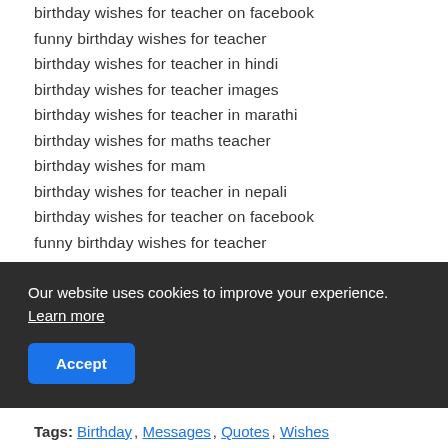birthday wishes for teacher on facebook
funny birthday wishes for teacher
birthday wishes for teacher in hindi
birthday wishes for teacher images
birthday wishes for teacher in marathi
birthday wishes for maths teacher
birthday wishes for mam
birthday wishes for teacher in nepali
birthday wishes for teacher on facebook
funny birthday wishes for teacher
birthday wishes for maths teacher
birthday wishes for teacher in hindi
happy birthday wishes to sir
birthday wishes for mam
Our website uses cookies to improve your experience. Learn more
Tags: Birthday, Messages, Quotes, Wishes